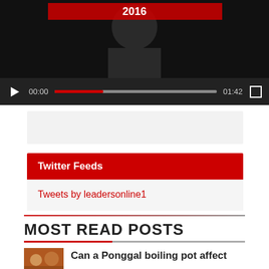[Figure (screenshot): Video player showing a dark thumbnail with a person in a suit, with playback controls showing 00:00 start time and 01:42 total duration, a progress bar, and a fullscreen button]
[Figure (other): Advertisement banner placeholder (gray rectangle)]
Twitter Feeds
Tweets by leadersonline1
MOST READ POSTS
Can a Ponggal boiling pot affect